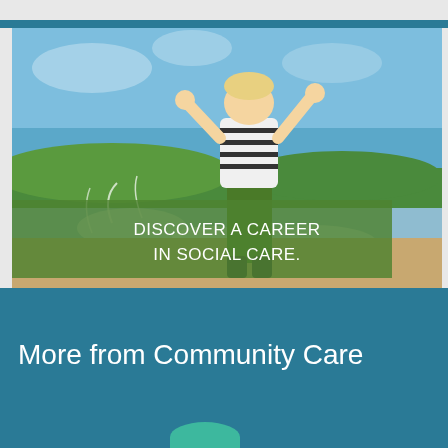[Figure (photo): A toddler jumping in water with arms raised, wearing a striped shirt and green pants. Blue sky background with a semi-transparent green banner overlay reading DISCOVER A CAREER IN SOCIAL CARE.]
DISCOVER A CAREER IN SOCIAL CARE.
More from Community Care